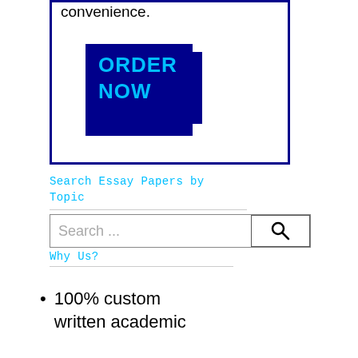convenience.
[Figure (other): Dark navy blue 'ORDER NOW' button with cyan text, displayed as a rectangular button element inside a navy-bordered box]
Search Essay Papers by Topic
[Figure (screenshot): Search input box with placeholder text 'Search ...' and a search icon (magnifying glass) on the right]
Why Us?
100% custom written academic